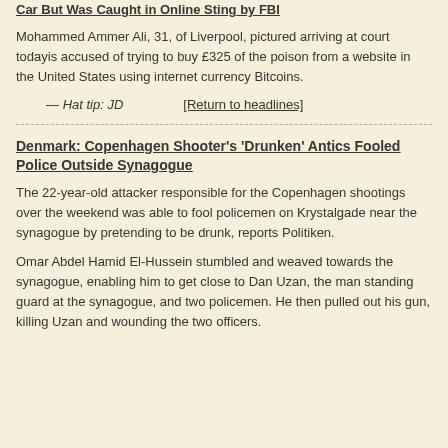Car But Was Caught in Online Sting by FBI
Mohammed Ammer Ali, 31, of Liverpool, pictured arriving at court todayis accused of trying to buy £325 of the poison from a website in the United States using internet currency Bitcoins.
— Hat tip: JD   [Return to headlines]
Denmark: Copenhagen Shooter's 'Drunken' Antics Fooled Police Outside Synagogue
The 22-year-old attacker responsible for the Copenhagen shootings over the weekend was able to fool policemen on Krystalgade near the synagogue by pretending to be drunk, reports Politiken.
Omar Abdel Hamid El-Hussein stumbled and weaved towards the synagogue, enabling him to get close to Dan Uzan, the man standing guard at the synagogue, and two policemen. He then pulled out his gun, killing Uzan and wounding the two officers.